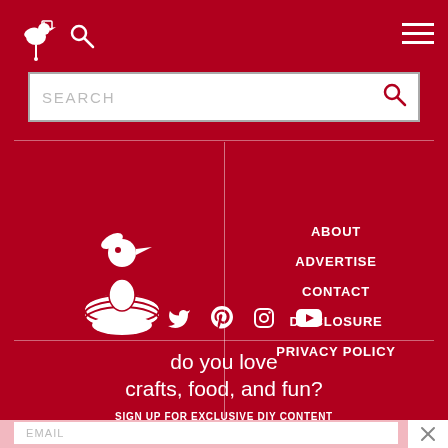[Figure (logo): Bird with price tag logo and search icon in top navigation bar on red background]
SEARCH
[Figure (logo): Bird in nest logo (white illustration on red background)]
ABOUT
ADVERTISE
CONTACT
DISCLOSURE
PRIVACY POLICY
[Figure (infographic): Social media icons row: Facebook, Twitter, Pinterest, Instagram, YouTube]
do you love
crafts, food, and fun?
SIGN UP FOR EXCLUSIVE DIY CONTENT
EMAIL